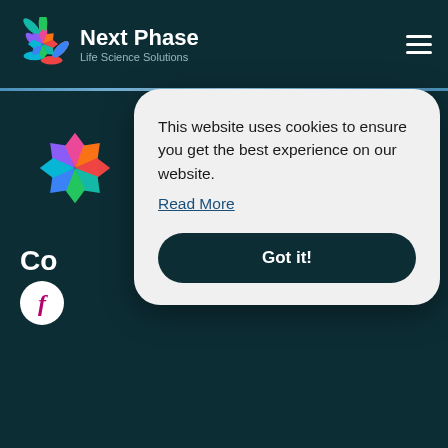Next Phase Life Science Solutions — navigation header with hamburger menu
[Figure (logo): Next Phase Life Science Solutions logo — colorful starburst/snowflake icon with colored petals in purple, pink, orange, red, teal, green, blue; beside bold white text 'Next Phase' and subtitle 'Life Science Solutions']
This website uses cookies to ensure you get the best experience on our website.
Read More
Got it!
Co
Qu
Current Vacancies at
2nd Floor, 7-8 Sterling